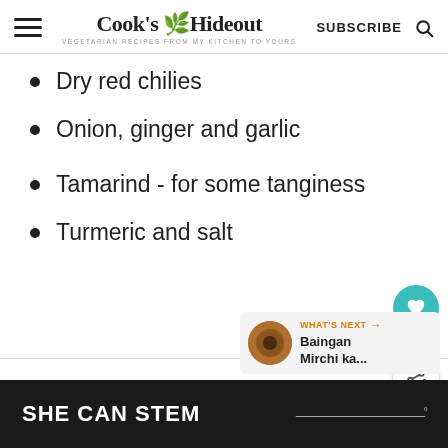Cook's Hideout — VEGETARIAN RECIPES FROM MY KITCHEN TO YOURS — SUBSCRIBE
Dry red chilies
Onion, ginger and garlic
Tamarind - for some tanginess
Turmeric and salt
[Figure (other): What's Next card with image thumbnail linking to Baingan Mirchi ka... article]
SHE CAN STEM